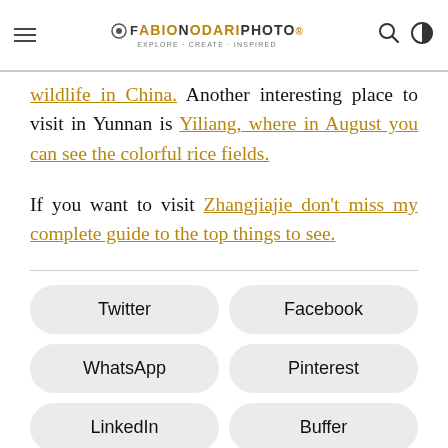FABIONODARIPHOTO EXPLORE · CREATE · INSPIRED
wildlife in China. Another interesting place to visit in Yunnan is Yiliang, where in August you can see the colorful rice fields.
If you want to visit Zhangjiajie don't miss my complete guide to the top things to see.
Twitter
Facebook
WhatsApp
Pinterest
LinkedIn
Buffer